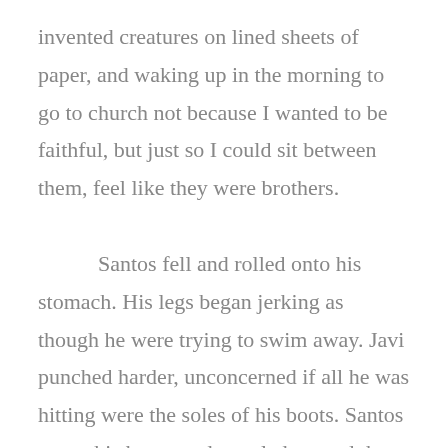invented creatures on lined sheets of paper, and waking up in the morning to go to church not because I wanted to be faithful, but just so I could sit between them, feel like they were brothers.

    Santos fell and rolled onto his stomach. His legs began jerking as though he were trying to swim away. Javi punched harder, unconcerned if all he was hitting were the soles of his boots. Santos got to his knees and crawled toward the driveway. Jaime landed two or three more kicks to his stomach, ribs. Santos plopped on the